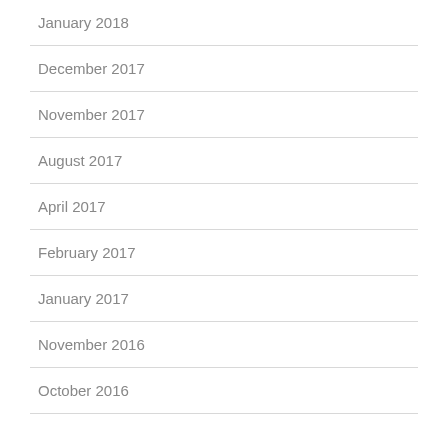January 2018
December 2017
November 2017
August 2017
April 2017
February 2017
January 2017
November 2016
October 2016